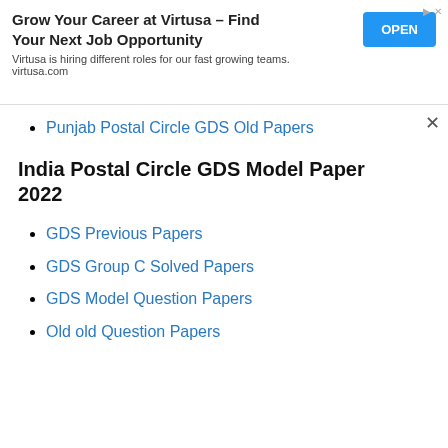[Figure (screenshot): Advertisement banner for Virtusa job opportunity with OPEN button]
Punjab Postal Circle GDS Old Papers
India Postal Circle GDS Model Paper 2022
GDS Previous Papers
GDS Group C Solved Papers
GDS Model Question Papers
Old old Question Papers